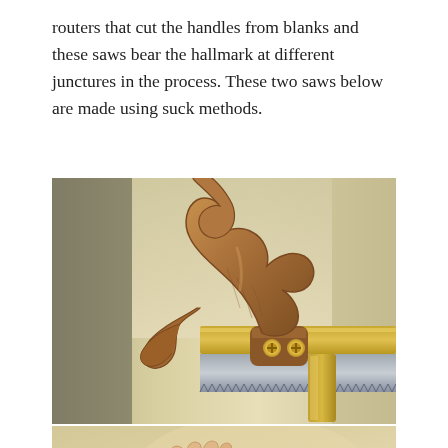routers that cut the handles from blanks and these saws bear the hallmark at different junctures in the process. These two saws below are made using suck methods.
[Figure (photo): Close-up photograph of an ornate carved wooden saw handle with a curved, horn-like design, attached to a brass-backed saw blade. The handle is a warm brown walnut wood with a flowing sculptural shape. Two brass screws are visible where the handle meets the metal back. The background is blurred workshop setting.]
[Figure (photo): Partial photograph showing a person's hands (wearing a blue-grey sleeve) holding or examining what appears to be a saw handle. Background is blurred warm yellow/tan.]